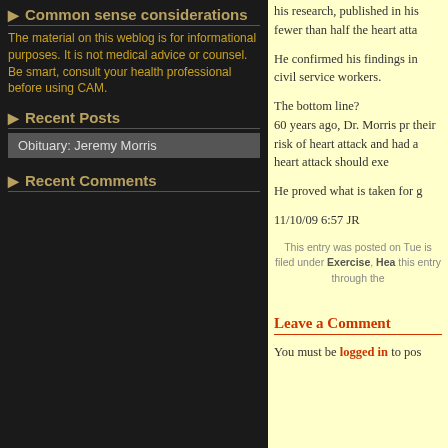▶ Common sense considerations
The material on this weblog is for informational purposes. It is not medical advice or counsel. Be smart, consult your health professional before using CAM.
▶ Recent Posts
Obituary: Jeremy Morris
▶ Recent Comments
his research, published in fewer than half the heart atta
He confirmed his findings in civil service workers.
The bottom line?
60 years ago, Dr. Morris pr their risk of heart attack and had a heart attack should exe
He proved what is taken for g
11/10/09 6:57 JR
This entry was posted on Tue is filed under Exercise, Hea this entry through the
Leave a Comment
You must be logged in to pos